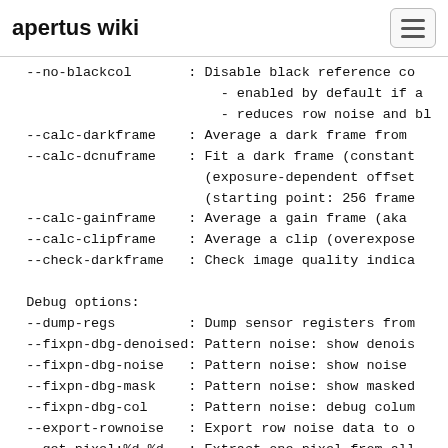apertus wiki
--no-blackcol       : Disable black reference co
                        - enabled by default if a
                        - reduces row noise and bl
--calc-darkframe    : Average a dark frame from
--calc-dcnuframe    : Fit a dark frame (constant
                      (exposure-dependent offset
                      (starting point: 256 frame
--calc-gainframe    : Average a gain frame (aka
--calc-clipframe    : Average a clip (overexpose
--check-darkframe   : Check image quality indica

Debug options:
--dump-regs         : Dump sensor registers from
--fixpn-dbg-denoised: Pattern noise: show denois
--fixpn-dbg-noise   : Pattern noise: show noise
--fixpn-dbg-mask    : Pattern noise: show masked
--fixpn-dbg-col     : Pattern noise: debug colum
--export-rownoise   : Export row noise data to o
--get-pixel:%d,%d   : Extract one pixel from all